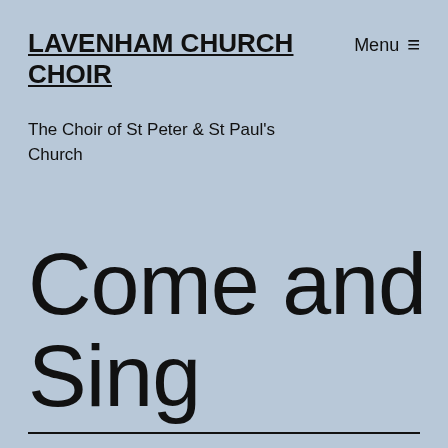LAVENHAM CHURCH CHOIR
Menu ≡
The Choir of St Peter & St Paul's Church
Come and Sing